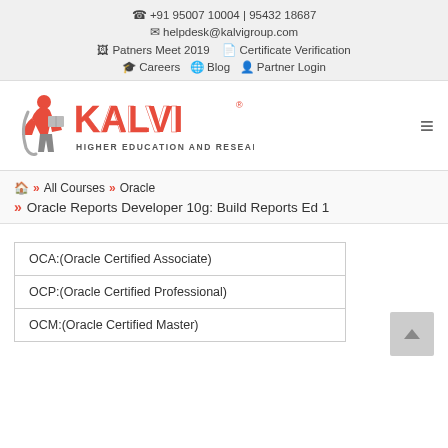☎ +91 95007 10004 | 95432 18687
✉ helpdesk@kalvigroup.com
🖼 Patners Meet 2019   📄 Certificate Verification
🎓 Careers   🌐 Blog   👤 Partner Login
[Figure (logo): KALVI Higher Education and Research Institute logo with stylized person reading and red KALVI text]
🏠 » All Courses » Oracle
» Oracle Reports Developer 10g: Build Reports Ed 1
| OCA:(Oracle Certified Associate) |
| OCP:(Oracle Certified Professional) |
| OCM:(Oracle Certified Master) |